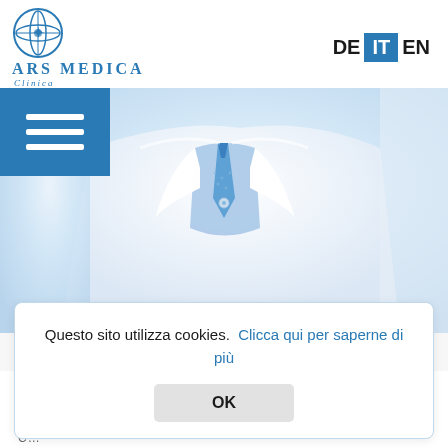[Figure (logo): Ars Medica Clinica logo with Vitruvian-style icon and blue text]
DE IT EN
[Figure (photo): Close-up photo of a doctor wearing a white coat and blue tie/shirt]
Lingue
Questo sito utilizza cookies.  Clicca qui per saperne di più
OK
C...